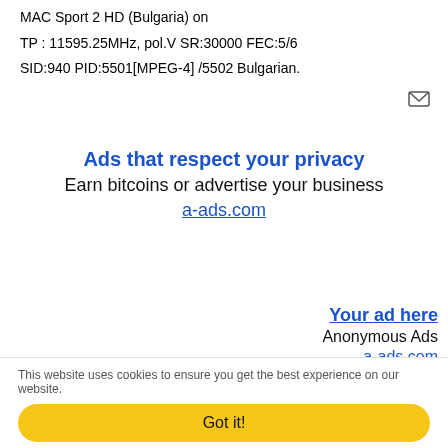MAC Sport 2 HD (Bulgaria) on
TP : 11595.25MHz, pol.V SR:30000 FEC:5/6
SID:940 PID:5501[MPEG-4] /5502 Bulgarian.
[Figure (other): Small icon/logo image top right]
Ads that respect your privacy
Earn bitcoins or advertise your business
a-ads.com
Your ad here
Anonymous Ads
a-ads.com
Awesome Links You May Like  ⓘ    Add Your Links FREE
[Figure (photo): Thumbnail image strip at bottom]
This website uses cookies to ensure you get the best experience on our website.
Got it!